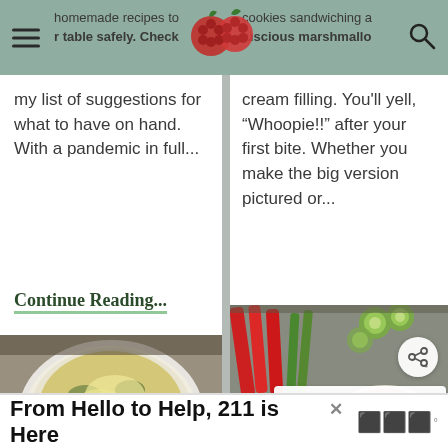Recipe blog page header with hamburger menu, raspberry logo, and search icon
my list of suggestions for what to have on hand. With a pandemic in full...
Continue Reading...
cream filling. You'll yell, "Whoopie!!" after your first bite. Whether you make the big version pictured or...
Continue Reading...
[Figure (photo): Baked spinach artichoke dip in a white ceramic dish, golden cheesy top]
[Figure (photo): Bowl of chunky dip with vegetables (red pepper strips, celery, cucumbers) in background, with share button overlay and What's Next widget showing Simple Meringue...]
From Hello to Help, 211 is Here